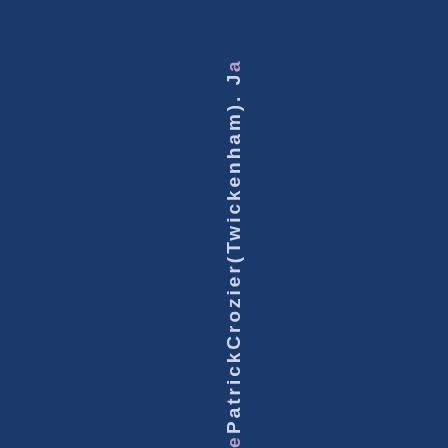ePatrickCrozier(Twickenham). Ja